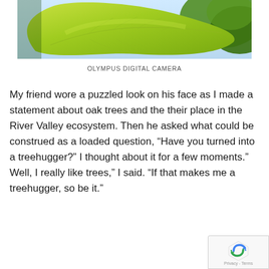[Figure (photo): Close-up photograph of a green leaf with visible veins against a light blue sky background, with additional green foliage in the upper right corner.]
OLYMPUS DIGITAL CAMERA
My friend wore a puzzled look on his face as I made a statement about oak trees and the their place in the River Valley ecosystem. Then he asked what could be construed as a loaded question, “Have you turned into a treehugger?” I thought about it for a few moments.” Well, I really like trees,” I said. “If that makes me a treehugger, so be it.”